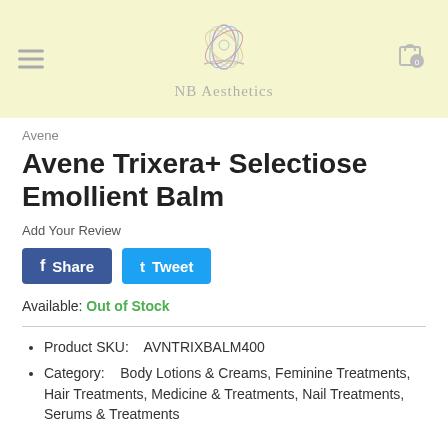[Figure (logo): NB Aesthetics logo with lotus flower icon and stylized text 'NB Aesthetics' on a pale yellow background, with hamburger menu icon on left and cart icon on right]
Avene
Avene Trixera+ Selectiose Emollient Balm
Add Your Review
Share   Tweet
Available: Out of Stock
Product SKU:    AVNTRIXBALM400
Category:    Body Lotions & Creams, Feminine Treatments, Hair Treatments, Medicine & Treatments, Nail Treatments, Serums & Treatments